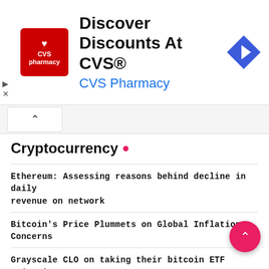[Figure (other): CVS Pharmacy advertisement banner with CVS logo, text 'Discover Discounts At CVS®', 'CVS Pharmacy' in blue, and a blue navigation diamond icon on the right]
Cryptocurrency •
Ethereum: Assessing reasons behind decline in daily revenue on network
Bitcoin's Price Plummets on Global Inflation Concerns
Grayscale CLO on taking their bitcoin ETF rejection to the courts
Ripple Unveils Crypto On-Demand Liquidity Service in Brazil
Chainalysis midyear report shows scams are down, but